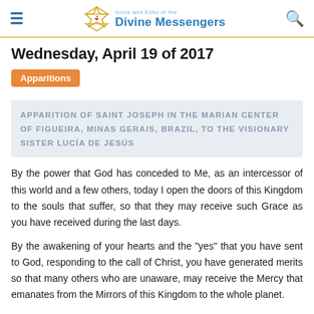Voice and Echo of the Divine Messengers
Wednesday, April 19 of 2017
Apparitions
APPARITION OF SAINT JOSEPH IN THE MARIAN CENTER OF FIGUEIRA, MINAS GERAIS, BRAZIL, TO THE VISIONARY SISTER LUCÍA DE JESÚS
By the power that God has conceded to Me, as an intercessor of this world and a few others, today I open the doors of this Kingdom to the souls that suffer, so that they may receive such Grace as you have received during the last days.
By the awakening of your hearts and the "yes" that you have sent to God, responding to the call of Christ, you have generated merits so that many others who are unaware, may receive the Mercy that emanates from the Mirrors of this Kingdom to the whole planet.